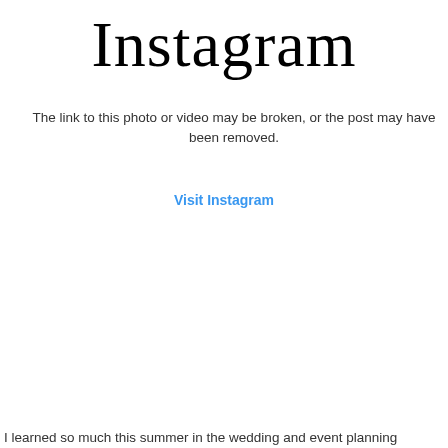[Figure (logo): Instagram wordmark logo in cursive black script]
The link to this photo or video may be broken, or the post may have been removed.
Visit Instagram
I learned so much this summer in the wedding and event planning